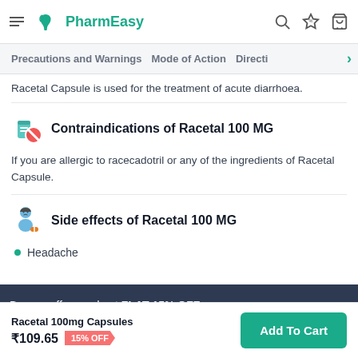PharmEasy
Precautions and Warnings   Mode of Action   Directi
Racetal Capsule is used for the treatment of acute diarrhoea.
Contraindications of Racetal 100 MG
If you are allergic to racecadotril or any of the ingredients of Racetal Capsule.
Side effects of Racetal 100 MG
Headache
Browse offers and get FLAT 15% OFF
Racetal 100mg Capsules ₹109.65  15% OFF
Add To Cart